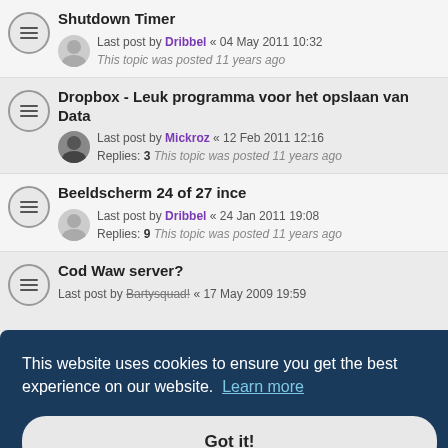Shutdown Timer — Last post by Dribbel « 04 May 2011 10:32 — This topic was posted 11 years ago
Dropbox - Leuk programma voor het opslaan van Data — Last post by Mickroz « 12 Feb 2011 12:16 — Replies: 3 — This topic was posted 11 years ago
Beeldscherm 24 of 27 ince — Last post by Dribbel « 24 Jan 2011 19:08 — Replies: 9 — This topic was posted 11 years ago
Cod Waw server? — Last post by Bartysquad! « 17 May 2009 19:59
This website uses cookies to ensure you get the best experience on our website. Learn more
Got it!
Replies: 7  This topic was posted 13 years ago